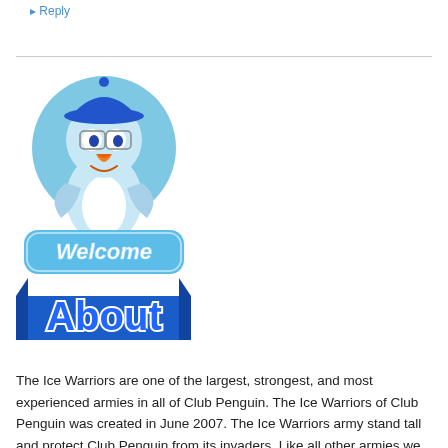Reply
[Figure (illustration): Club Penguin cartoon penguin character wearing a blue baseball cap and blue outfit, with an orange beak, above a light blue rounded rectangle button with 'Welcome' text in white cursive lettering]
[Figure (illustration): Blue banner/ribbon graphic with 'About' written in large blue cartoon-style lettering with white outline]
The Ice Warriors are one of the largest, strongest, and most experienced armies in all of Club Penguin. The Ice Warriors of Club Penguin was created in June 2007. The Ice Warriors army stand tall and protect Club Penguin from its invaders. Like all other armies we have a